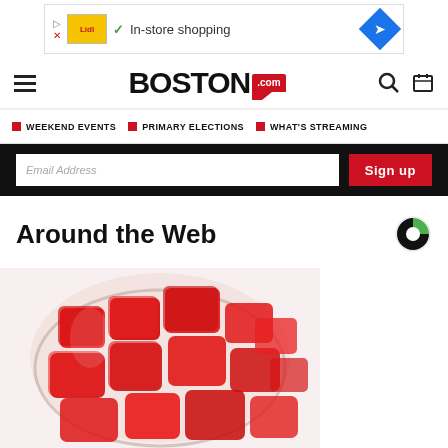[Figure (screenshot): Ad banner for Lidl showing yellow logo, checkmark, 'In-store shopping' text, and blue diamond arrow icon]
BOSTON.COM
WEEKEND EVENTS | PRIMARY ELECTIONS | WHAT'S STREAMING
[Figure (screenshot): Email signup bar with dark background, email input field, and red 'Sign up' button]
Around the Web
[Figure (photo): Close-up photo of red gummy candy pieces in a glass jar]